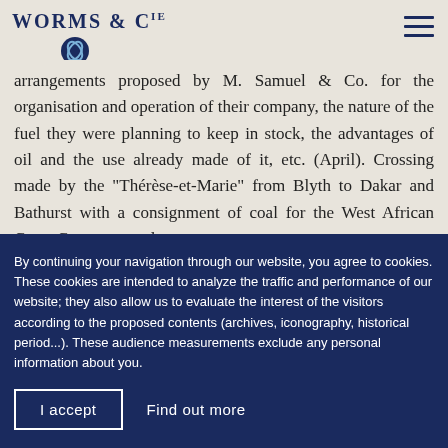Worms & Cie
arrangements proposed by M. Samuel & Co. for the organisation and operation of their company, the nature of the fuel they were planning to keep in stock, the advantages of oil and the use already made of it, etc. (April). Crossing made by the "Thérèse-et-Marie" from Blyth to Dakar and Bathurst with a consignment of coal for the West African Coast Company, and
By continuing your navigation through our website, you agree to cookies. These cookies are intended to analyze the traffic and performance of our website; they also allow us to evaluate the interest of the visitors according to the proposed contents (archives, iconography, historical period...). These audience measurements exclude any personal information about you.
I accept
Find out more